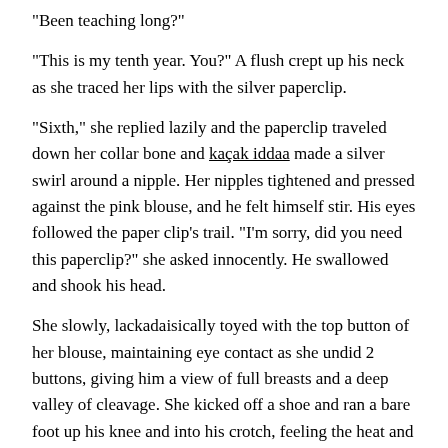“Been teaching long?”
“This is my tenth year. You?” A flush crept up his neck as she traced her lips with the silver paperclip.
“Sixth,” she replied lazily and the paperclip traveled down her collar bone and kaçak iddaa made a silver swirl around a nipple. Her nipples tightened and pressed against the pink blouse, and he felt himself stir. His eyes followed the paper clip’s trail. “I’m sorry, did you need this paperclip?” she asked innocently. He swallowed and shook his head.
She slowly, lackadaisically toyed with the top button of her blouse, maintaining eye contact as she undid 2 buttons, giving him a view of full breasts and a deep valley of cleavage. She kicked off a shoe and ran a bare foot up his knee and into his crotch, feeling the heat and strength of his erection against her toes. He took a shaky breath and her foot retreated. She uncrossed her legs and he focused on her white thighs for a brief moment, feeling an ache as his cock strained against his dress pants.
Daisy slid off the desk and melted to her knees, unbuckling